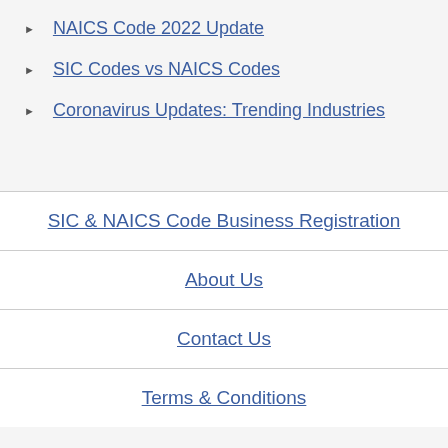NAICS Code 2022 Update
SIC Codes vs NAICS Codes
Coronavirus Updates: Trending Industries
SIC & NAICS Code Business Registration
About Us
Contact Us
Terms & Conditions